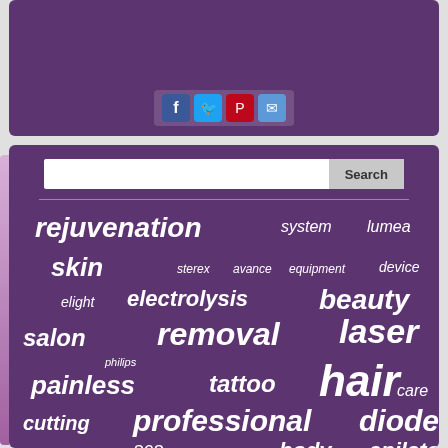[Figure (screenshot): Purple panel with social sharing icons (Facebook, Twitter, Pinterest, Email)]
[Figure (screenshot): Purple search panel with word cloud containing hair removal related terms: rejuvenation, system, lumea, skin, sterex, avance, equipment, device, elight, electrolysis, beauty, salon, removal, laser, philips, painless, tattoo, hair, care, cutting, professional, diode, warranty, 808nm, body, epilator]